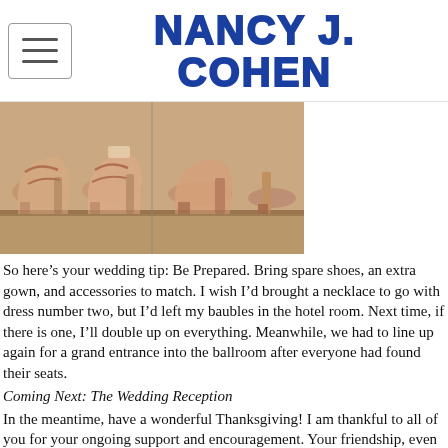Nancy J. Cohen
[Figure (photo): Close-up photo of women's heeled sandals/shoes on display, nude/tan color, arranged in a row showing soles and heels from an overhead angle.]
So here’s your wedding tip: Be Prepared. Bring spare shoes, an extra gown, and accessories to match. I wish I’d brought a necklace to go with dress number two, but I’d left my baubles in the hotel room. Next time, if there is one, I’ll double up on everything. Meanwhile, we had to line up again for a grand entrance into the ballroom after everyone had found their seats.
Coming Next: The Wedding Reception
In the meantime, have a wonderful Thanksgiving! I am thankful to all of you for your ongoing support and encouragement. Your friendship, even at a distance and across cyberspace, means a lot to me. Have a